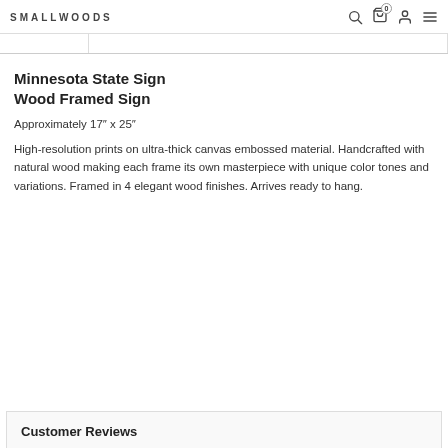SMALLWOODS
Minnesota State Sign
Wood Framed Sign
Approximately 17″ x 25″
High-resolution prints on ultra-thick canvas embossed material. Handcrafted with natural wood making each frame its own masterpiece with unique color tones and variations. Framed in 4 elegant wood finishes. Arrives ready to hang.
Customer Reviews